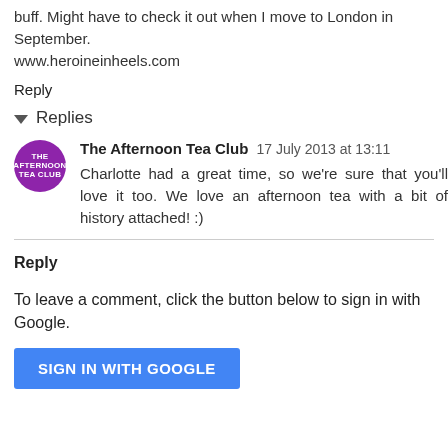buff. Might have to check it out when I move to London in September.
www.heroineinheels.com
Reply
Replies
The Afternoon Tea Club 17 July 2013 at 13:11
Charlotte had a great time, so we're sure that you'll love it too. We love an afternoon tea with a bit of history attached! :)
Reply
To leave a comment, click the button below to sign in with Google.
SIGN IN WITH GOOGLE